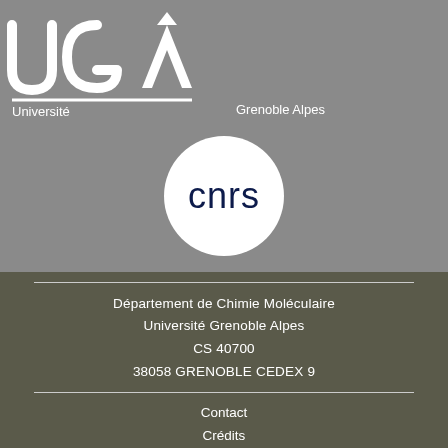[Figure (logo): UGA Université Grenoble Alpes logo in white on grey background]
[Figure (logo): CNRS logo in dark navy on white circle background]
Département de Chimie Moléculaire
Université Grenoble Alpes
CS 40700
38058 GRENOBLE CEDEX 9
Contact
Crédits